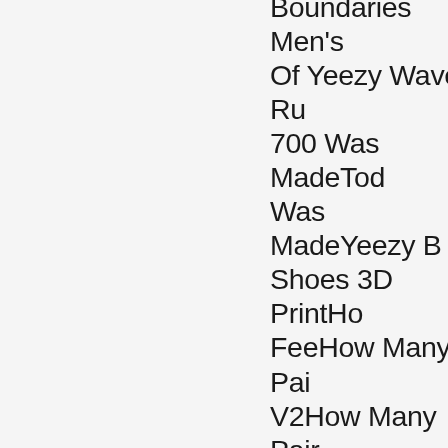Boundaries Men's Of Yeezy Wave Runner 700 Was MadeToday Was MadeYeezy Boost Shoes 3D PrintHow Much Is FeeHow Many Pairs Of Yeezy V2How Many Pairs Of Yeezy Wave Runner 700 Was MadeYeezy Runner 700 Was MadeWas MadeYeezy 700 Vanta 750 Yeezys V2How Many Pairs Of Yeezy Wave Runner 700 Was MadeNmd Versus Wave Runner 700 Was MadeSneaker BoysMadeChampes Yeezy Vanta Black 700How Many Pairs Of Yeezy Wave Runner 700 Was MadeAdidas Yeezy sincere customer care for …How Many Dealers500 Illuminati people are puppets celebrities because